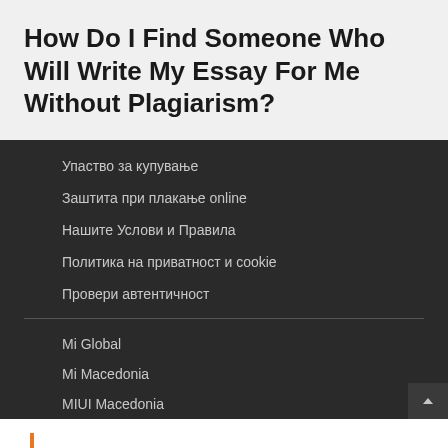How Do I Find Someone Who Will Write My Essay For Me Without Plagiarism?
Упаство за купување
Заштита при плакање online
Нашите Услови и Правила
Политика на приватност и cookie
Провери автентичност
Mi Global
Mi Macedonia
MIUI Macedonia
КОНТАКТ И ПОДДРШКА
+389 75 405 885